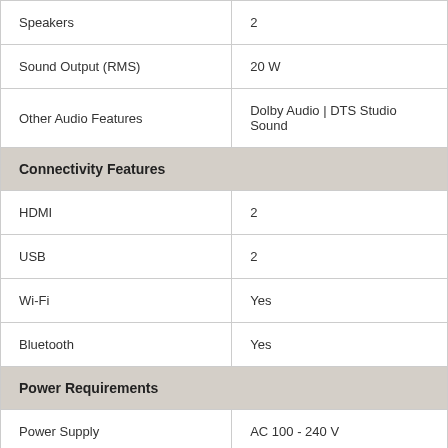| Feature | Value |
| --- | --- |
| Speakers | 2 |
| Sound Output (RMS) | 20 W |
| Other Audio Features | Dolby Audio | DTS Studio Sound |
| Connectivity Features |  |
| HDMI | 2 |
| USB | 2 |
| Wi-Fi | Yes |
| Bluetooth | Yes |
| Power Requirements |  |
| Power Supply | AC 100 - 240 V |
| Power Consumption (Operational) | 55 Watts |